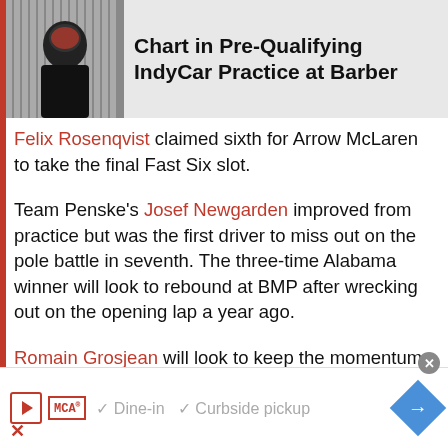[Figure (photo): Photo of a racing driver in helmet and gear, with gray striped background, alongside bold article headline text on gray background]
Chart in Pre-Qualifying IndyCar Practice at Barber
Felix Rosenqvist claimed sixth for Arrow McLaren to take the final Fast Six slot.
Team Penske's Josef Newgarden improved from practice but was the first driver to miss out on the pole battle in seventh. The three-time Alabama winner will look to rebound at BMP after wrecking out on the opening lap a year ago.
Romain Grosjean will look to keep the momentum going following a career best
[Figure (screenshot): Advertisement banner with MCA logo, dine-in and curbside pickup checkmarks, play button, and blue arrow navigation icon]